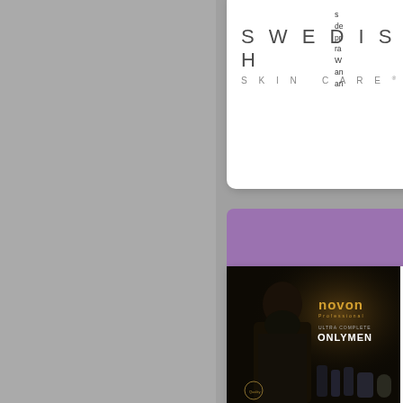[Figure (logo): Swedish Skin Care logo with text SWEDISH in large spaced letters and SKIN CARE® below in smaller spaced letters, on white background]
de pr ra W an an
[Figure (photo): Purple banner header section]
[Figure (photo): Novon Professional Only Men advertisement showing a bearded man with dark dramatic lighting, Novon Professional branding and product bottles, 'ULTRA COMPLETE ONLY MEN' text]
O N IN Im fo su N cr